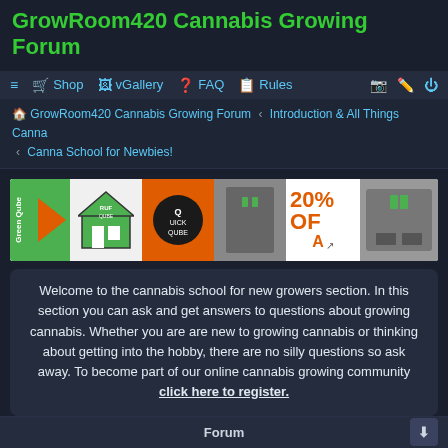GrowRoom420 Cannabis Growing Forum
≡  🛒 Shop  vGallery  ❓ FAQ  📋 Rules
GrowRoom420 Cannabis Growing Forum › Introduction & All Things Canna › Canna School for Newbies!
[Figure (photo): Advertisement banner for GreenQube/RUF/QuickQube grow tents showing 20% OFF discount]
Welcome to the cannabis school for new growers section. In this section you can ask and get answers to questions about growing cannabis. Whether you are are new to growing cannabis or thinking about getting into the hobby, there are no silly questions so ask away. To become part of our online cannabis growing community click here to register.
Canna School for Newbies!
Forum